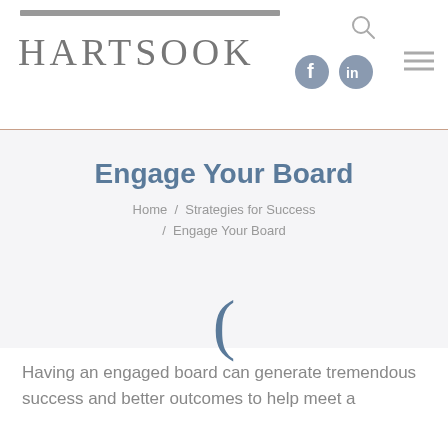HARTSOOK
Engage Your Board
Home / Strategies for Success / Engage Your Board
[Figure (illustration): A decorative blue parenthesis or scroll indicator symbol centered below the breadcrumb navigation]
Having an engaged board can generate tremendous success and better outcomes to help meet a